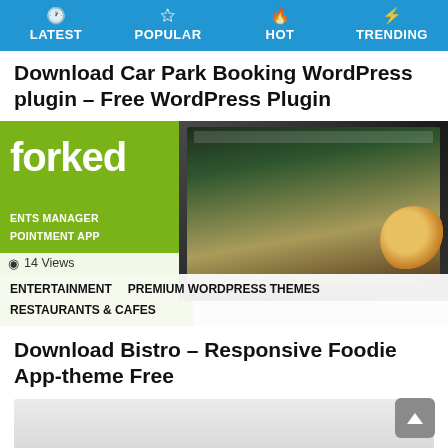LATEST | POPULAR | HOT | TRENDING
Download Car Park Booking WordPress plugin – Free WordPress Plugin
[Figure (screenshot): Screenshot of 'forked' restaurant WordPress theme with green left panel showing text 'forked', 'ENTS MANAGER', 'POINTMENT APP', a laptop mockup on the right showing a food website, a donut in the lower right corner, and tags: ENTERTAINMENT, PREMIUM WORDPRESS THEMES, RESTAURANTS & CAFES. Shows 14 Views.]
Download Bistro – Responsive Foodie App-theme Free
[Figure (screenshot): Partial screenshot of Bistro theme, light grey background visible]